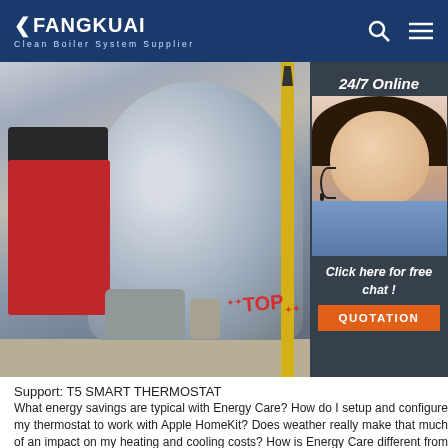FANGKUAI — Clean Boiler System Supplier
[Figure (photo): Industrial boiler equipment with red burner unit on left and large cylindrical boiler body, yellow safety pole on right. Side panel shows 24/7 Online chat widget with female agent and QUOTATION button.]
Support: T5 SMART THERMOSTAT
What energy savings are typical with Energy Care? How do I setup and configure my thermostat to work with Apple HomeKit? Does weather really make that much of an impact on my heating and cooling costs? How is Energy Care different from the programs my utility provides? Do the T5/T6 Pro Wi-Fi model thermostats require a 'C' wire?